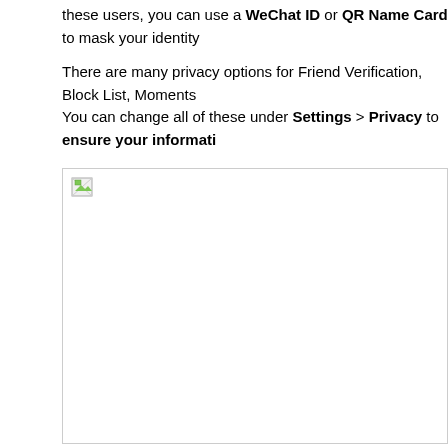these users, you can use a WeChat ID or QR Name Card to mask your identity
There are many privacy options for Friend Verification, Block List, Moments ... You can change all of these under Settings > Privacy to ensure your informati...
[Figure (screenshot): A broken/unloaded image placeholder with a small broken image icon in the top-left corner, displayed within a bordered rectangle.]